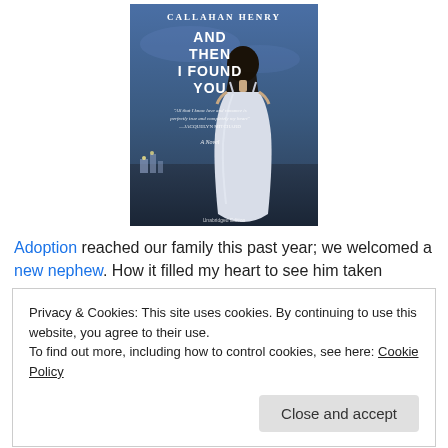[Figure (illustration): Book cover of 'And Then I Found You' by Callahan Henry. Blue-toned cover showing a woman with long dark hair, viewed from behind, wearing a white dress. Large white text reads the title. Author name at top.]
Adoption reached our family this past year; we welcomed a new nephew. How it filled my heart to see him taken
Privacy & Cookies: This site uses cookies. By continuing to use this website, you agree to their use.
To find out more, including how to control cookies, see here: Cookie Policy
Close and accept